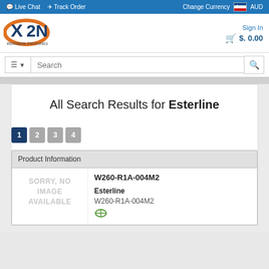Live Chat  Track Order  Change Currency  AUD
[Figure (logo): X2N Worldwide Electronics logo with orange and dark blue design]
Sign In  $ 0.00
Search
All Search Results for Esterline
1 2 3 4
| Product Information |
| --- |
| W260-R1A-004M2 | Esterline | W260-R1A-004M2 |